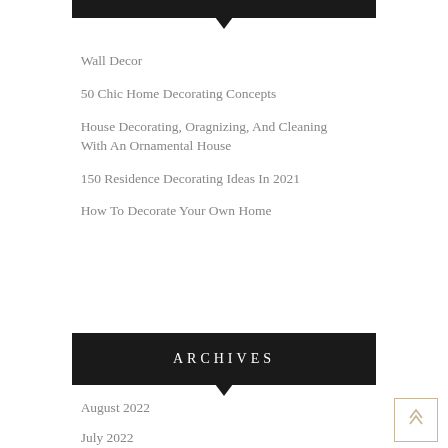Wall Decor
50 Chic Home Decorating Concepts
House Decorating, Oragnizing, And Cleaning With An Ornamental House
150 Residence Decorating Ideas In 2021
How To Decorate Your Own Home
ARCHIVES
August 2022
July 2022